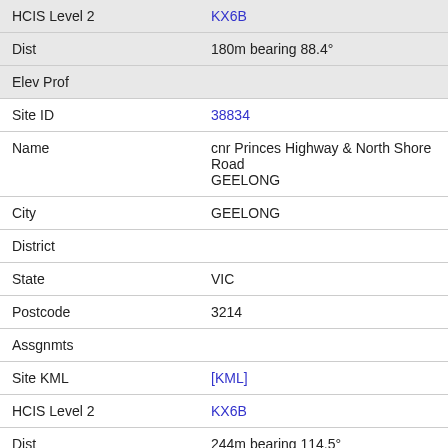| Field | Value |
| --- | --- |
| HCIS Level 2 | KX6B |
| Dist | 180m bearing 88.4° |
| Elev Prof |  |
| Site ID | 38834 |
| Name | cnr Princes Highway & North Shore Road GEELONG |
| City | GEELONG |
| District |  |
| State | VIC |
| Postcode | 3214 |
| Assgnmts |  |
| Site KML | [KML] |
| HCIS Level 2 | KX6B |
| Dist | 244m bearing 114.5° |
| Elev Prof | Elevation Profile |
| Site ID | 304754 |
| Name | Ford Geelong cnr Princes Hwy & Northshore Rd |